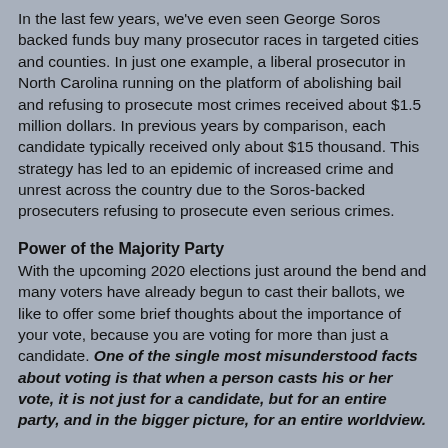In the last few years, we've even seen George Soros backed funds buy many prosecutor races in targeted cities and counties. In just one example, a liberal prosecutor in North Carolina running on the platform of abolishing bail and refusing to prosecute most crimes received about $1.5 million dollars. In previous years by comparison, each candidate typically received only about $15 thousand. This strategy has led to an epidemic of increased crime and unrest across the country due to the Soros-backed prosecuters refusing to prosecute even serious crimes.
Power of the Majority Party
With the upcoming 2020 elections just around the bend and many voters have already begun to cast their ballots, we like to offer some brief thoughts about the importance of your vote, because you are voting for more than just a candidate. One of the single most misunderstood facts about voting is that when a person casts his or her vote, it is not just for a candidate, but for an entire party, and in the bigger picture, for an entire worldview.
Perhaps the easiest way to explain is to look at the 2108 mid-term elections. Prior to the election, the Republicans